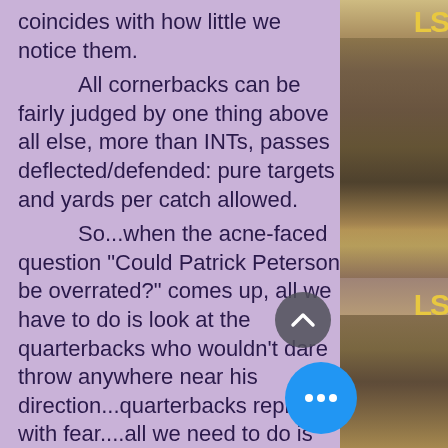coincides with how little we notice them.

    All cornerbacks can be fairly judged by one thing above all else, more than INTs, passes deflected/defended: pure targets and yards per catch allowed.

    So...when the acne-faced question "Could Patrick Peterson be overrated?" comes up, all we have to do is look at the quarterbacks who wouldn't dare throw anywhere near his direction...quarterbacks replete with fear....all we need to do is focus on how many times he allowed #1 receivers to get the best of him....and I can only count twice in his entire LSU career when a receiver bested him in a duel and the Tigers still won both contests
[Figure (photo): Sports photo strip on right side showing LSU football players/fans, with gold LSU text visible]